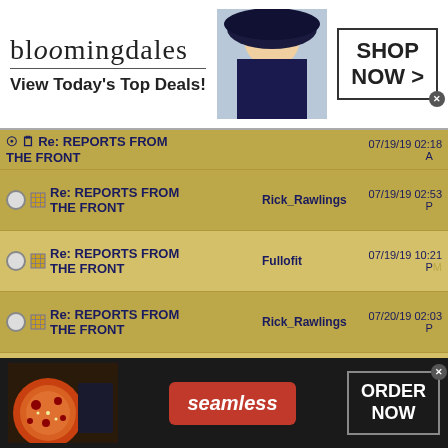[Figure (screenshot): Bloomingdales advertisement banner: logo, tagline 'View Today's Top Deals!', model photo with hat, 'SHOP NOW >' button]
Re: REPORTS FROM THE FRONT | 07/19/19 02:18 AM
Re: REPORTS FROM THE FRONT | Rick_Rawlings | 07/19/19 02:53 PM
Re: REPORTS FROM THE FRONT | Fullofit | 07/19/19 10:21 PM
Re: REPORTS FROM THE FRONT | Rick_Rawlings | 07/20/19 02:03 PM
Re: REPORTS FROM THE FRONT | Rick_Rawlings | 07/21/19 12:13 AM
Re: REPORTS FROM THE FRONT | Fullofit | 07/21/19 02:24 AM
Re: REPORTS FROM | Rick_Rawlings | 07/21/19 06:21 AM
[Figure (screenshot): Seamless food delivery advertisement with pizza image, Seamless logo, and ORDER NOW button]